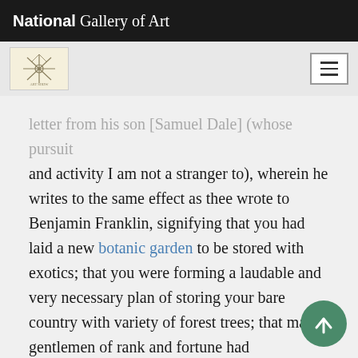National Gallery of Art
letter from his son [Samuel Dale] (whose pursuit and activity I am not a stranger to), wherein he writes to the same effect as thee wrote to Benjamin Franklin, signifying that you had laid a new botanic garden to be stored with exotics; that you were forming a laudable and very necessary plan of storing your bare country with variety of forest trees; that many gentlemen of rank and fortune had countenanced this scheme with an annual subscription, to enable a botanist to make your desired collections; and that my answer was desired, whether I would undertake to supply demands, which I consent to do."